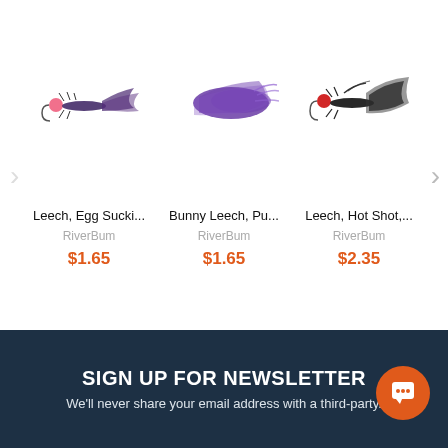[Figure (photo): Three fishing fly lures displayed in a horizontal carousel: a purple/black fly with pink bead, a large purple bunny leech fly, and a black fly with red bead head. Navigation arrows on sides.]
Leech, Egg Sucki...
RiverBum
$1.65
Bunny Leech, Pu...
RiverBum
$1.65
Leech, Hot Shot,...
RiverBum
$2.35
SIGN UP FOR NEWSLETTER
We'll never share your email address with a third-party.